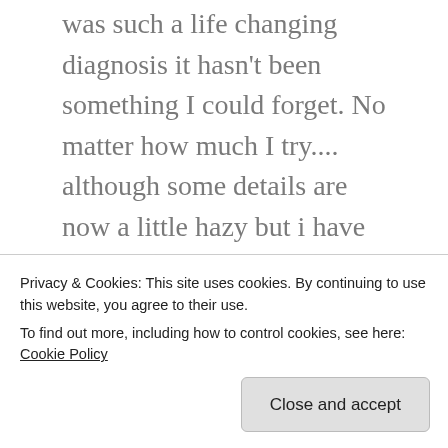was such a life changing diagnosis it hasn't been something I could forget. No matter how much I try.... although some details are now a little hazy but i have always written thoughts and feelings down which is helpful for this for sure.
I remember being 13 ish and being told by a friend of mine at school that one of the popular girls had started her periods. I remember thinking.... what does that even mean? It sounded awful, bleeding, out of your... you know what, every single month for the rest of your life (50 ish felt like the
Privacy & Cookies: This site uses cookies. By continuing to use this website, you agree to their use.
To find out more, including how to control cookies, see here: Cookie Policy
Close and accept
outline of the pad the girl was wearing... although